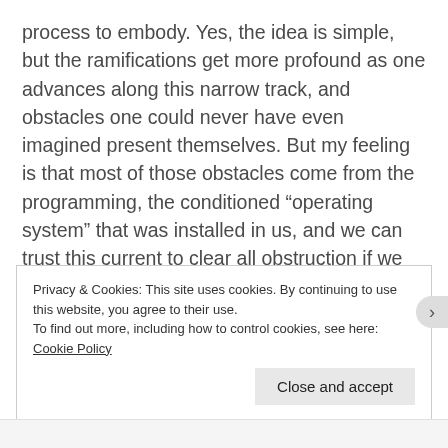process to embody. Yes, the idea is simple, but the ramifications get more profound as one advances along this narrow track, and obstacles one could never have even imagined present themselves. But my feeling is that most of those obstacles come from the programming, the conditioned “operating system” that was installed in us, and we can trust this current to clear all obstruction if we can just allow it. Much like the cleaning of the Aegean Stables by Hercules. He diverted a river (a current) through them.
Privacy & Cookies: This site uses cookies. By continuing to use this website, you agree to their use.
To find out more, including how to control cookies, see here: Cookie Policy
Close and accept